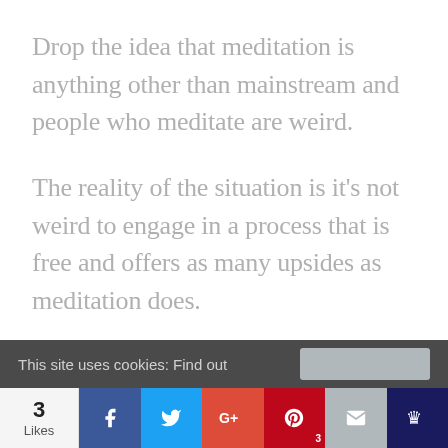Drop the idea that meditation is anything other than mainstream and people who meditate are weird.
The reality of the situation is it's not weird to engage in a process that is free and offers as many upsides as meditation does.
This site uses cookies: Find out
3 Likes | Facebook | Twitter | G+ | Pinterest 3 | Email | Bloglovin